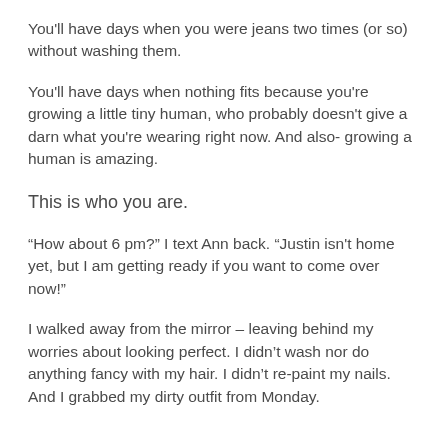You'll have days when you were jeans two times (or so) without washing them.
You'll have days when nothing fits because you're growing a little tiny human, who probably doesn't give a darn what you're wearing right now. And also- growing a human is amazing.
This is who you are.
“How about 6 pm?” I text Ann back. “Justin isn't home yet, but I am getting ready if you want to come over now!”
I walked away from the mirror – leaving behind my worries about looking perfect. I didn’t wash nor do anything fancy with my hair. I didn’t re-paint my nails. And I grabbed my dirty outfit from Monday.